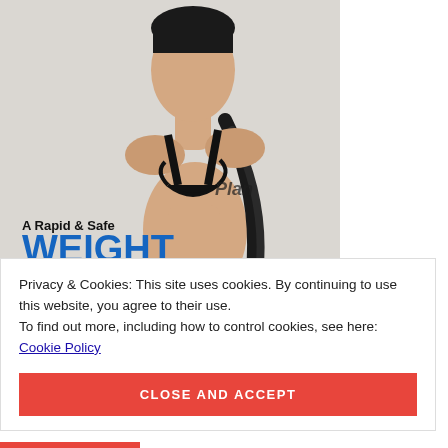[Figure (photo): A fit woman with dark hair in a braid wearing a black bikini top, posed against a light gray background. Overlaid text reads 'A Rapid & Safe WEIGHT LOSS' with 'Plan' text visible on the right side of the image.]
Privacy & Cookies: This site uses cookies. By continuing to use this website, you agree to their use.
To find out more, including how to control cookies, see here: Cookie Policy
CLOSE AND ACCEPT